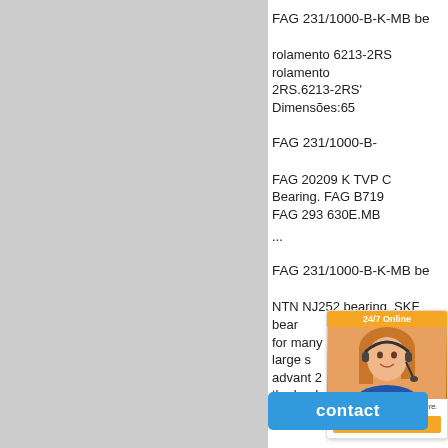[Figure (photo): Gray placeholder panel on the left side of the page]
FAG 231/1000-B-K-MB be
rolamento 6213-2RS rolamento 2RS.6213-2RS' Dimensões:65
FAG 231/1000-B-
FAG 20209 K TVP C
Bearing. FAG B719
FAG 293 630E.MB
...
FAG 231/1000-B-K-MB be
NTN NJ252 bearing_SKF bear for many years We have large advant 2 be the lead distributor of NTN ...
[Figure (screenshot): 24/7 Online chat widget with orange header, photo of woman with headset, italic text 'Enter any requests, click here.' and orange Quotation button]
[Figure (other): Blue contact button overlay at bottom]